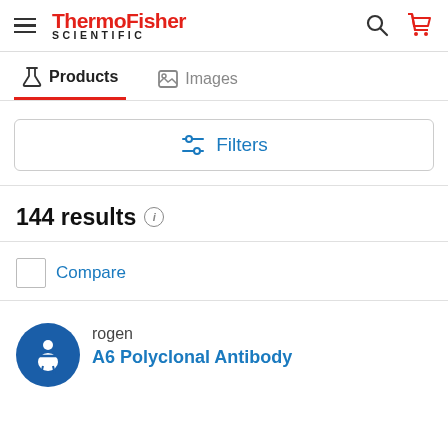[Figure (logo): ThermoFisher Scientific logo with hamburger menu, search and cart icons]
Products   Images
Filters
144 results
Compare
rogen
A6 Polyclonal Antibody